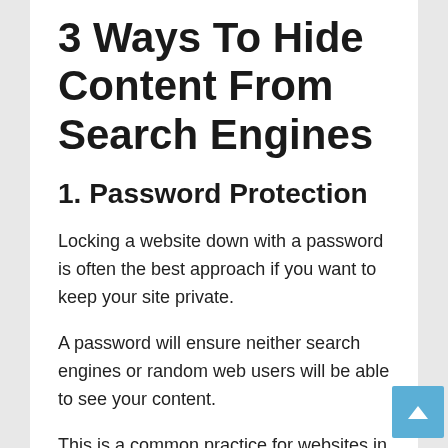3 Ways To Hide Content From Search Engines
1. Password Protection
Locking a website down with a password is often the best approach if you want to keep your site private.
A password will ensure neither search engines or random web users will be able to see your content.
This is a common practice for websites in development. Publishing the website live is an